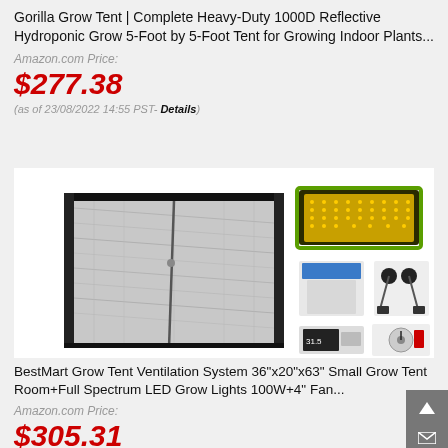Gorilla Grow Tent | Complete Heavy-Duty 1000D Reflective Hydroponic Grow 5-Foot by 5-Foot Tent for Growing Indoor Plants...
Amazon.com Price:
$277.38
(as of 23/08/2022 14:55 PST- Details)
[Figure (photo): BestMart grow tent ventilation system product photo showing a silver mylar grow tent open to reveal reflective interior, alongside accessories including an LED grow light panel (green frame with yellow LEDs), rope ratchet hangers, a temperature/humidity monitor, and a timer dial.]
BestMart Grow Tent Ventilation System 36"x20"x63" Small Grow Tent Room+Full Spectrum LED Grow Lights 100W+4" Fan...
Amazon.com Price:
$305.31
(as of 23/08/2022 14:55 PST- Details)